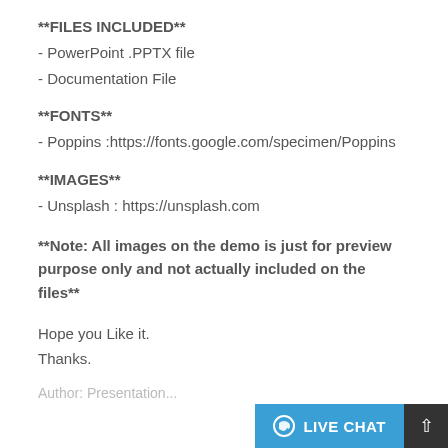**FILES INCLUDED**
- PowerPoint .PPTX file
- Documentation File
**FONTS**
- Poppins :https://fonts.google.com/specimen/Poppins
**IMAGES**
- Unsplash : https://unsplash.com
**Note: All images on the demo is just for preview purpose only and not actually included on the files**
Hope you Like it.
Thanks.